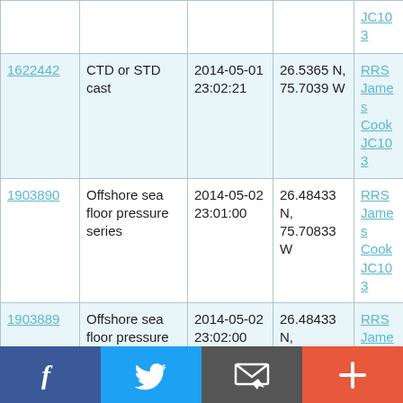| ID | Type | Date | Location | Vessel |
| --- | --- | --- | --- | --- |
|  |  |  |  | JC103 |
| 1622442 | CTD or STD cast | 2014-05-01 23:02:21 | 26.5365 N, 75.7039 W | RRS James Cook JC103 |
| 1903890 | Offshore sea floor pressure series | 2014-05-02 23:01:00 | 26.48433 N, 75.70833 W | RRS James Cook JC103 |
| 1903889 | Offshore sea floor pressure series | 2014-05-02 23:02:00 | 26.48433 N, 75.70833 W | RRS James Cook JC103 |
|  |  |  |  |  |